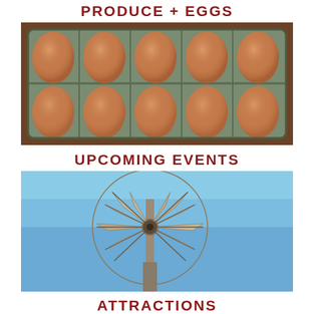PRODUCE + EGGS
[Figure (photo): Brown eggs in a gray cardboard egg carton, close-up photo]
UPCOMING EVENTS
[Figure (photo): Old metal windmill photographed from below against a blue sky]
ATTRACTIONS